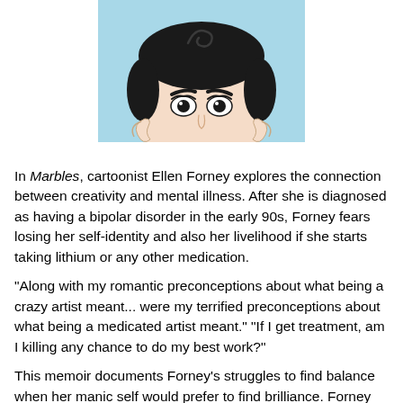[Figure (illustration): Cartoon illustration of a face (top half) with a light blue background, showing a woman with dark hair styled with curls, expressive eyes with long lashes, and decorative curl details on the sides of the head.]
In Marbles, cartoonist Ellen Forney explores the connection between creativity and mental illness. After she is diagnosed as having a bipolar disorder in the early 90s, Forney fears losing her self-identity and also her livelihood if she starts taking lithium or any other medication.
"Along with my romantic preconceptions about what being a crazy artist meant... were my terrified preconceptions about what being a medicated artist meant." "If I get treatment, am I killing any chance to do my best work?"
This memoir documents Forney's struggles to find balance when her manic self would prefer to find brilliance. Forney dedicates the book to her mother and her psychiatrist. I found the scenes with her supportive mother, who happens to be a lesbian, especially poignant. Forney writes that they have always been close. "Mom paid for Karen [the psychiatrist] and for half of my rent. I had health insurance